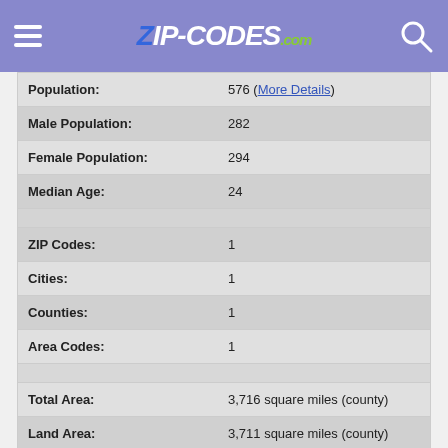ZIP-CODES.com
| Label | Value |
| --- | --- |
| Population: | 576 (More Details) |
| Male Population: | 282 |
| Female Population: | 294 |
| Median Age: | 24 |
|  |  |
| ZIP Codes: | 1 |
| Cities: | 1 |
| Counties: | 1 |
| Area Codes: | 1 |
|  |  |
| Total Area: | 3,716 square miles (county) |
| Land Area: | 3,711 square miles (county) |
| Water Area: | 5 square miles (county) |